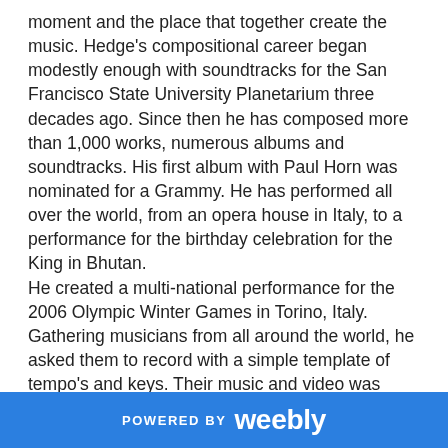moment and the place that together create the music. Hedge's compositional career began modestly enough with soundtracks for the San Francisco State University Planetarium three decades ago. Since then he has composed more than 1,000 works, numerous albums and soundtracks. His first album with Paul Horn was nominated for a Grammy. He has performed all over the world, from an opera house in Italy, to a performance for the birthday celebration for the King in Bhutan. He created a multi-national performance for the 2006 Olympic Winter Games in Torino, Italy. Gathering musicians from all around the world, he asked them to record with a simple template of tempo's and keys. Their music and video was collected through the web and combined, live, each night of the games into a true global composition. From a musical family, Hedge's formative years saw experimentation with many instruments. While adept at the piano, guitar and kalimba, his most expressive instrument is
POWERED BY weebly